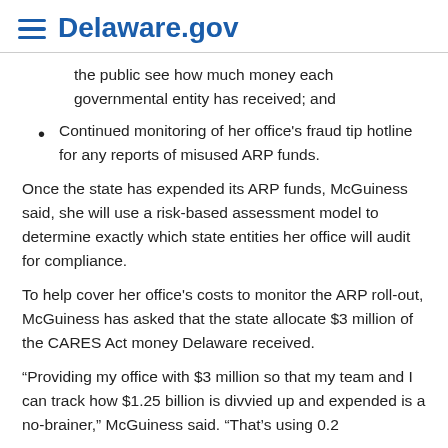Delaware.gov
the public see how much money each governmental entity has received; and
Continued monitoring of her office's fraud tip hotline for any reports of misused ARP funds.
Once the state has expended its ARP funds, McGuiness said, she will use a risk-based assessment model to determine exactly which state entities her office will audit for compliance.
To help cover her office's costs to monitor the ARP roll-out, McGuiness has asked that the state allocate $3 million of the CARES Act money Delaware received.
“Providing my office with $3 million so that my team and I can track how $1.25 billion is divvied up and expended is a no-brainer,” McGuiness said. “That’s using 0.2